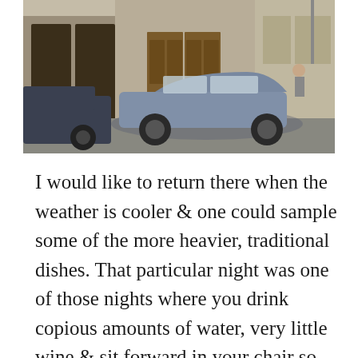[Figure (photo): A street scene photograph showing a blue hatchback car parked or moving on a city street in front of a building with large wooden doors. A person is visible near the car. Another dark car is partially visible on the left side.]
I would like to return there when the weather is cooler & one could sample some of the more heavier, traditional dishes. That particular night was one of those nights where you drink copious amounts of water, very little wine & sit forward in your chair so that the sweat can run down the small of your back. That said, however, we had a beautiful dinner & the conversation flowed nicely. It was really great to get to know colleagues from the Sorbonne as well as my own IU, that I had not really